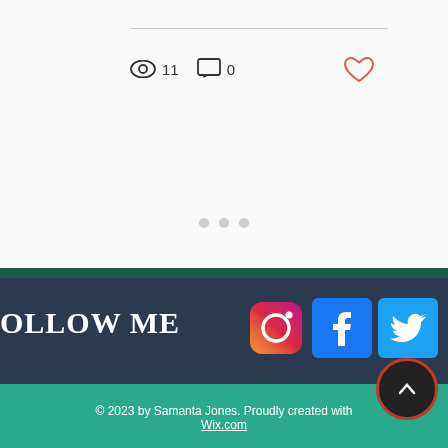11 views · 0 comments
Comments   Newest
Loading...
FOLLOW ME
[Figure (screenshot): Social media icons: Instagram, Facebook, Twitter]
© 2023 by Samanta Jones. Proudly created with Wix.com